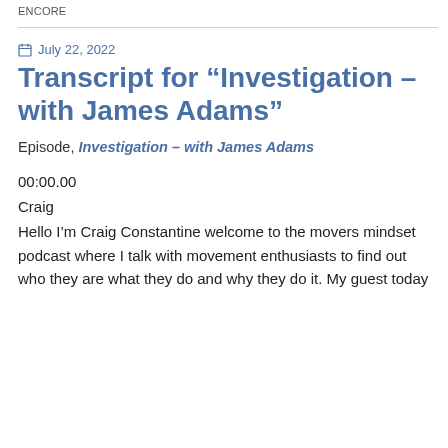ENCORE
July 22, 2022
Transcript for “Investigation – with James Adams”
Episode, Investigation – with James Adams
00:00.00
Craig
Hello I’m Craig Constantine welcome to the movers mindset podcast where I talk with movement enthusiasts to find out who they are what they do and why they do it. My guest today